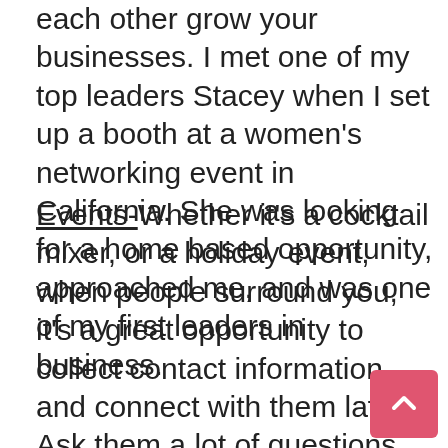each other grow your businesses. I met one of my top leaders Stacey when I set up a booth at a women's networking event in California. She was looking for a home based opportunity, approached me, and was one of my first leaders in business.
Events- Whether it's a cocktail mixer, or a holiday event, when people surround you, it's a great opportunity to collect contact information and connect with them later. Ask them a lot of questions. Get to know them better. Ask what they do. When asked about what you do: “We’re here to enjoy the party tonight.  I would love to tell you more.  <Let me quickly get your contact information> <What's your email?> “As we